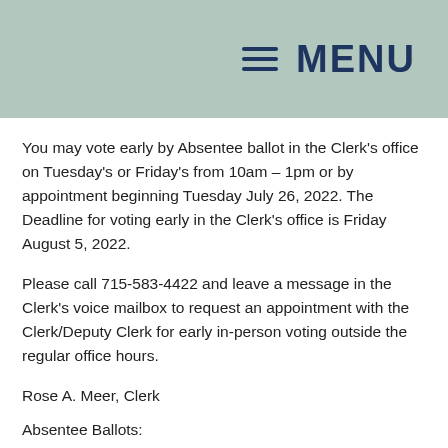MENU
You may vote early by Absentee ballot in the Clerk's office on Tuesday's or Friday's from 10am – 1pm or by appointment beginning Tuesday July 26, 2022. The Deadline for voting early in the Clerk's office is Friday August 5, 2022.
Please call 715-583-4422 and leave a message in the Clerk's voice mailbox to request an appointment with the Clerk/Deputy Clerk for early in-person voting outside the regular office hours.
Rose A. Meer, Clerk
Absentee Ballots: